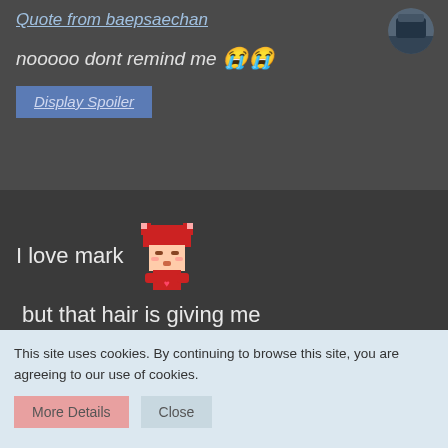Quote from baepsaechan
nooooo dont remind me 😭😭
Display Spoiler
I love mark [fox sticker] but that hair is giving me mad scientist vibes [pepe sticker]
[Figure (screenshot): Dark purple/blue artistic image visible at bottom]
This site uses cookies. By continuing to browse this site, you are agreeing to our use of cookies.
More Details  Close